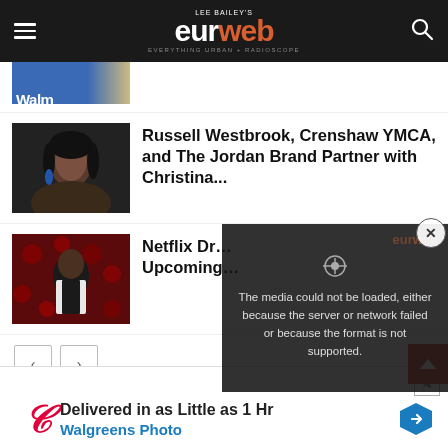Lee Bailey's EURweb — Everything Urban + Radioscope
[Figure (screenshot): Partial thumbnail of Walmart article, cut off at top]
Russell Westbrook, Crenshaw YMCA, and The Jordan Brand Partner with Christina...
[Figure (photo): Photo of a woman with curly black hair and blue earrings]
Netflix Dr... Upcoming...
[Figure (photo): Photo of a man in a white suit on a red carpet]
[Figure (screenshot): Video player error overlay: The media could not be loaded, either because the server or network failed or because the format is not supported.]
The media could not be loaded, either because the server or network failed or because the format is not supported.
[Figure (other): Walgreens advertisement: Delivered in as Little as 1 Hr, Walgreens Photo]